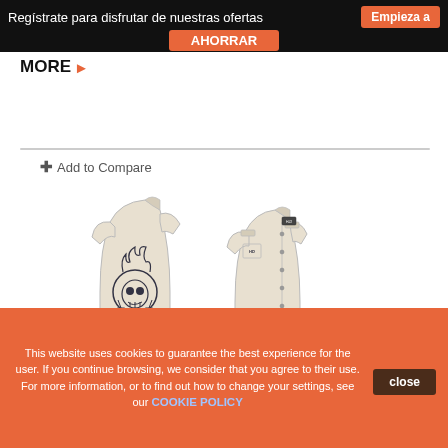Regístrate para disfrutar de nuestras ofertas AHORRAR  Empieza a
MORE ▶
+ Add to Compare
[Figure (photo): Two views of a Harley-Davidson short-sleeve shirt in beige/khaki: back view showing skull with flames and pistons graphic, and front view showing buttons and shoulder epaulettes.]
This website uses cookies to guarantee the best experience for the user. If you continue browsing, we consider that you agree to their use. For more information, or to find out how to change your settings, see our COOKIE POLICY  close